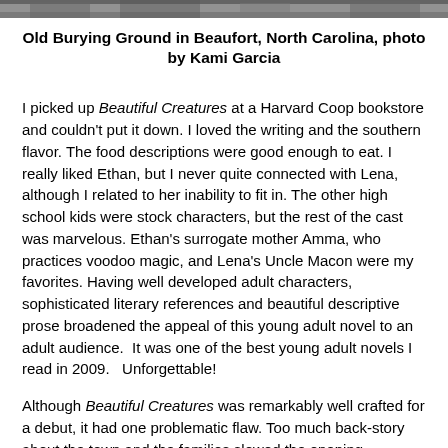[Figure (photo): Black and white photo of Old Burying Ground in Beaufort, North Carolina, showing trees and gravestones, photo by Kami Garcia]
Old Burying Ground in Beaufort, North Carolina, photo by Kami Garcia
I picked up Beautiful Creatures at a Harvard Coop bookstore and couldn't put it down. I loved the writing and the southern flavor. The food descriptions were good enough to eat. I really liked Ethan, but I never quite connected with Lena, although I related to her inability to fit in. The other high school kids were stock characters, but the rest of the cast was marvelous. Ethan's surrogate mother Amma, who practices voodoo magic, and Lena's Uncle Macon were my favorites. Having well developed adult characters, sophisticated literary references and beautiful descriptive prose broadened the appeal of this young adult novel to an adult audience.  It was one of the best young adult novels I read in 2009.   Unforgettable!
Although Beautiful Creatures was remarkably well crafted for a debut, it had one problematic flaw. Too much back-story about the town and the families slowed the opening, although the pace really picked up later in the narrative. My